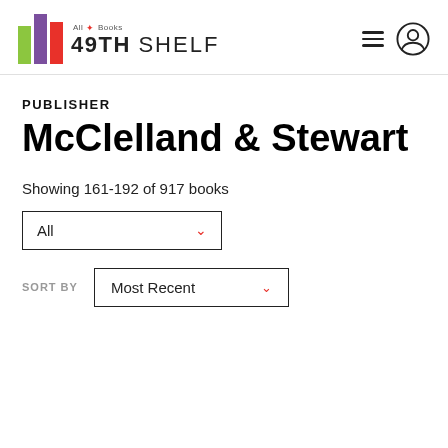[Figure (logo): 49th Shelf logo with colorful bar icon and 'All Books' maple leaf text above]
PUBLISHER
McClelland & Stewart
Showing 161-192 of 917 books
All [dropdown]
SORT BY   Most Recent [dropdown]